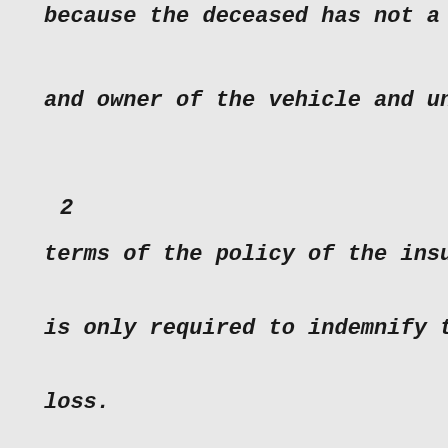because the deceased has not a third par
and owner of the vehicle and under the Ac
2
terms of the policy of the insurance, the
is only required to indemnify the owner i
loss.
3. The Claims Tribunal heard the parties
question of maintainability of the claim
order dated August 7, 2001 held that the